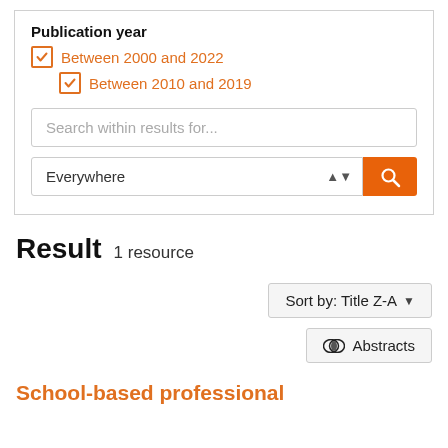Publication year
Between 2000 and 2022
Between 2010 and 2019
Search within results for...
Everywhere
Result  1 resource
Sort by: Title Z-A
Abstracts
School-based professional